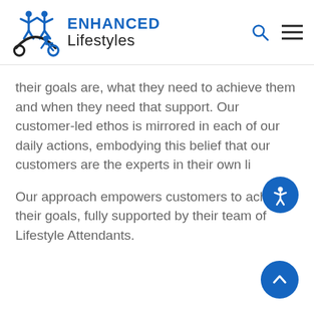ENHANCED Lifestyles
their goals are, what they need to achieve them and when they need that support. Our customer-led ethos is mirrored in each of our daily actions, embodying this belief that our customers are the experts in their own li...
Our approach empowers customers to achieve their goals, fully supported by their team of Lifestyle Attendants.